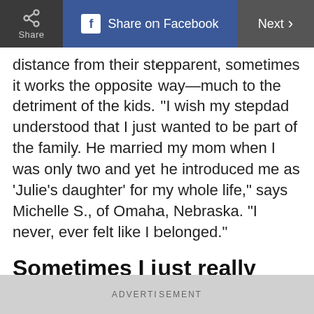Share | Share on Facebook | Next
distance from their stepparent, sometimes it works the opposite way—much to the detriment of the kids. "I wish my stepdad understood that I just wanted to be part of the family. He married my mom when I was only two and yet he introduced me as 'Julie's daughter' for my whole life," says Michelle S., of Omaha, Nebraska. "I never, ever felt like I belonged."
Sometimes I just really miss my real dad and that's not
ADVERTISEMENT